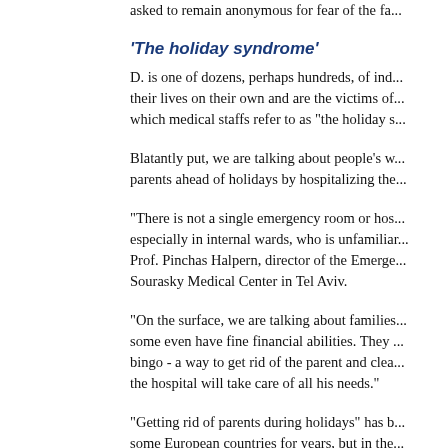asked to remain anonymous for fear of the fa...
'The holiday syndrome'
D. is one of dozens, perhaps hundreds, of ind... their lives on their own and are the victims of... which medical staffs refer to as "the holiday s...
Blatantly put, we are talking about people's w... parents ahead of holidays by hospitalizing the...
"There is not a single emergency room or hos... especially in internal wards, who is unfamiliar... Prof. Pinchas Halpern, director of the Emerge... Sourasky Medical Center in Tel Aviv.
"On the surface, we are talking about families... some even have fine financial abilities. They... bingo - a way to get rid of the parent and clea... the hospital will take care of all his needs."
"Getting rid of parents during holidays" has b... some European countries for years, but in the... Israel too.
"We are talking about a widowed and function... an interest in and visit and host regularly, eve... Yaffa Lerman, director of the Geriatrics Divis...